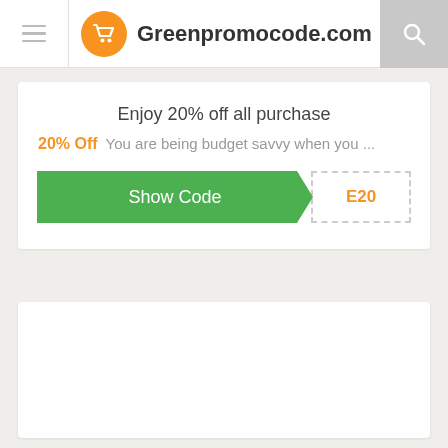Greenpromocode.com
Enjoy 20% off all purchase
20% Off  You are being budget savvy when you ...
[Figure (other): Green 'Show Code' button with dashed code box showing 'E20']